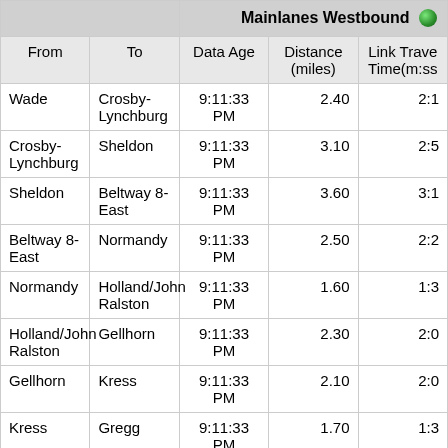| From | To | Data Age | Distance (miles) | Link Travel Time(m:ss) |
| --- | --- | --- | --- | --- |
| Wade | Crosby-Lynchburg | 9:11:33 PM | 2.40 | 2:1 |
| Crosby-Lynchburg | Sheldon | 9:11:33 PM | 3.10 | 2:5 |
| Sheldon | Beltway 8-East | 9:11:33 PM | 3.60 | 3:1 |
| Beltway 8-East | Normandy | 9:11:33 PM | 2.50 | 2:2 |
| Normandy | Holland/John Ralston | 9:11:33 PM | 1.60 | 1:3 |
| Holland/John Ralston | Gellhorn | 9:11:33 PM | 2.30 | 2:0 |
| Gellhorn | Kress | 9:11:33 PM | 2.10 | 2:0 |
| Kress | Gregg | 9:11:33 PM | 1.70 | 1:3 |